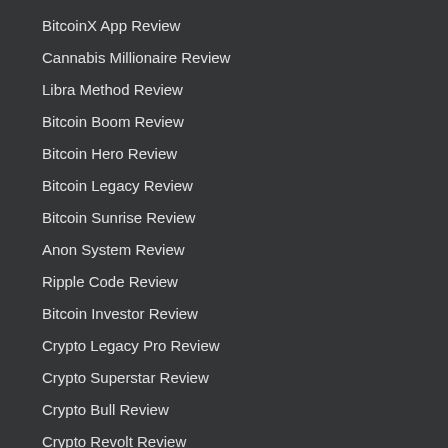BitcoinX App Review
Cannabis Millionaire Review
Libra Method Review
Bitcoin Boom Review
Bitcoin Hero Review
Bitcoin Legacy Review
Bitcoin Sunrise Review
Anon System Review
Ripple Code Review
Bitcoin Investor Review
Crypto Legacy Pro Review
Crypto Superstar Review
Crypto Bull Review
Crypto Revolt Review
Crypto Wealth Review